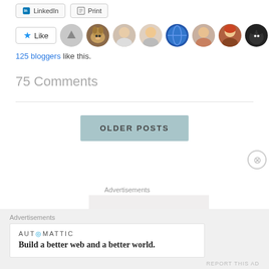[Figure (screenshot): LinkedIn and Print share buttons]
[Figure (screenshot): Like button with star icon and row of blogger avatar thumbnails]
125 bloggers like this.
75 Comments
[Figure (screenshot): OLDER POSTS navigation button]
Advertisements
[Figure (screenshot): Advertisement placeholder box]
Advertisements
[Figure (screenshot): Automattic advertisement: Build a better web and a better world.]